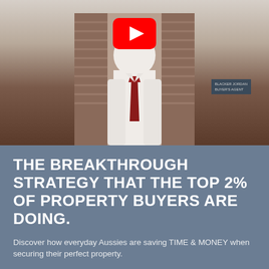[Figure (screenshot): A YouTube video thumbnail showing a man in a white shirt and red tie standing in front of window blinds, with a YouTube play button overlay at the top center and a name tag visible at bottom right.]
THE BREAKTHROUGH STRATEGY THAT THE TOP 2% OF PROPERTY BUYERS ARE DOING.
Discover how everyday Aussies are saving TIME & MONEY when securing their perfect property.
Get a competitive advantage over your rival property buyers by watching this short video.